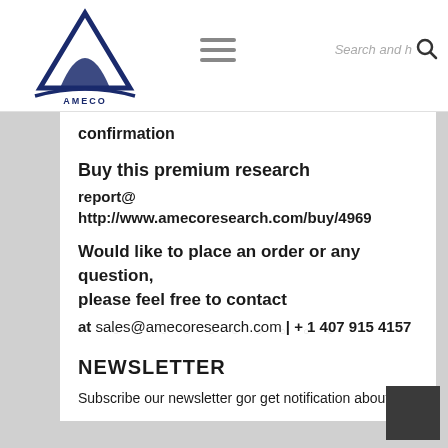AMECO RESEARCH — navigation header with logo, hamburger menu, and search
confirmation
Buy this premium research
report@ http://www.amecoresearch.com/buy/4969
Would like to place an order or any question, please feel free to contact
at sales@amecoresearch.com | + 1 407 915 4157
NEWSLETTER
Subscribe our newsletter gor get notification about